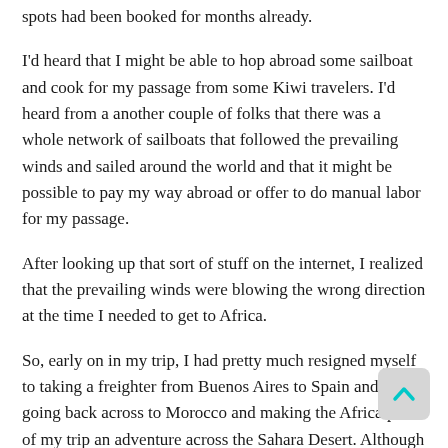spots had been booked for months already.
I'd heard that I might be able to hop abroad some sailboat and cook for my passage from some Kiwi travelers. I'd heard from a another couple of folks that there was a whole network of sailboats that followed the prevailing winds and sailed around the world and that it might be possible to pay my way abroad or offer to do manual labor for my passage.
After looking up that sort of stuff on the internet, I realized that the prevailing winds were blowing the wrong direction at the time I needed to get to Africa.
So, early on in my trip, I had pretty much resigned myself to taking a freighter from Buenos Aires to Spain and then going back across to Morocco and making the Africa part of my trip an adventure across the Sahara Desert. Although I was content with that option, it really wasn't what I had set my mind on before the trip. I'd gotten all excited about South Africa, Namibia, Botswana, Tanzania, Kenya, Ethiopia